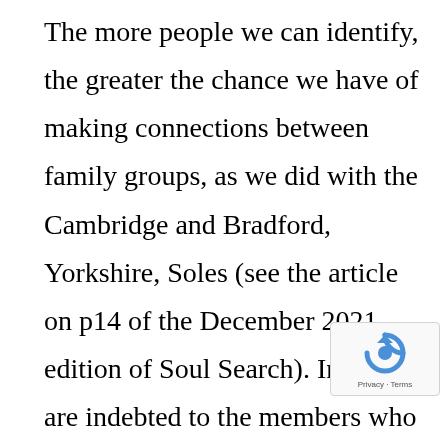The more people we can identify, the greater the chance we have of making connections between family groups, as we did with the Cambridge and Bradford, Yorkshire, Soles (see the article on p14 of the December 2021 edition of Soul Search). In this we are indebted to the members who helped by providing us with lists of all their DNA matches who had a Sole somewhere in their family tree, whether the member had a common Sole ancestor, or whether their connection was on some other branch